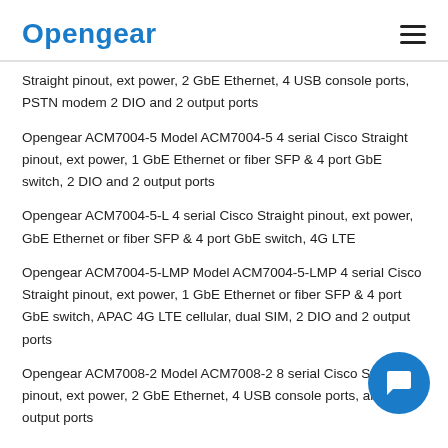Opengear
Straight pinout, ext power, 2 GbE Ethernet, 4 USB console ports, PSTN modem 2 DIO and 2 output ports
Opengear ACM7004-5 Model ACM7004-5 4 serial Cisco Straight pinout, ext power, 1 GbE Ethernet or fiber SFP & 4 port GbE switch, 2 DIO and 2 output ports
Opengear ACM7004-5-L 4 serial Cisco Straight pinout, ext power, GbE Ethernet or fiber SFP & 4 port GbE switch, 4G LTE
Opengear ACM7004-5-LMP Model ACM7004-5-LMP 4 serial Cisco Straight pinout, ext power, 1 GbE Ethernet or fiber SFP & 4 port GbE switch, APAC 4G LTE cellular, dual SIM, 2 DIO and 2 output ports
Opengear ACM7008-2 Model ACM7008-2 8 serial Cisco Straight pinout, ext power, 2 GbE Ethernet, 4 USB console ports, and 2 output ports
Opengear ACM7008-2-L 8 serial Cisco Straight pinout, ext power,